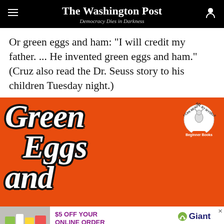The Washington Post – Democracy Dies in Darkness
Or green eggs and ham: "I will credit my father. ... He invented green eggs and ham." (Cruz also read the Dr. Seuss story to his children Tuesday night.)
[Figure (photo): Cover of the Dr. Seuss book 'Green Eggs and Eggs' on an orange background, with large white outlined text and a Beginner Books badge in the top right corner.]
[Figure (infographic): Advertisement banner: $5 OFF YOUR ONLINE ORDER OF $50+ from Giant, with grocery image on left and SHOP NOW button.]